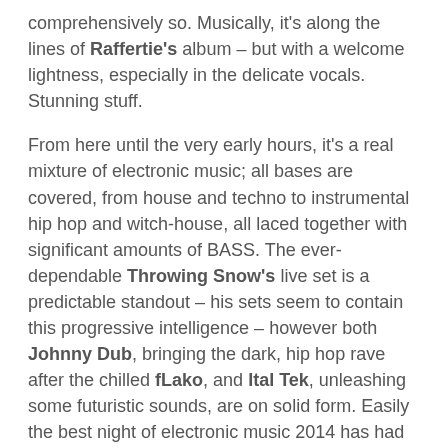comprehensively so. Musically, it's along the lines of Raffertie's album – but with a welcome lightness, especially in the delicate vocals. Stunning stuff.
From here until the very early hours, it's a real mixture of electronic music; all bases are covered, from house and techno to instrumental hip hop and witch-house, all laced together with significant amounts of BASS. The ever-dependable Throwing Snow's live set is a predictable standout – his sets seem to contain this progressive intelligence – however both Johnny Dub, bringing the dark, hip hop rave after the chilled fLako, and Ital Tek, unleashing some futuristic sounds, are on solid form. Easily the best night of electronic music 2014 has had to offer.
For next month's show, Tempo Clash return to their usual home and South London's best club space, Corsica Studios, for a show featuring Akkord. We'll be there. Will you?